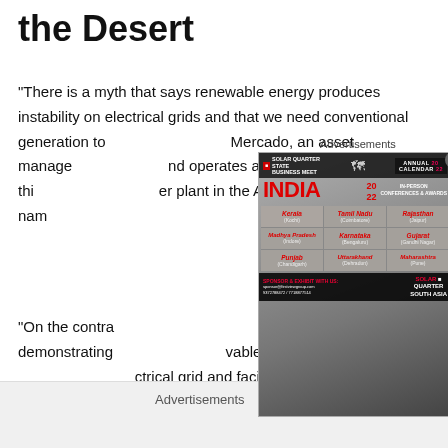the Desert
“There is a myth that says renewable energy produces instability on electrical grids and that we need conventional generation to [stabilize it,” said Gabriel Solórzano] Mercado, an asset manage[r who] and operates a 141-MW, thi[n-film solar pow]er plant in the Atacama nam[ed ...]
[Figure (other): Solar Quarter State Business Meet India 2022 advertisement popup overlay showing Annual Calendar 2022, In-Person Conferences & Awards, and state/city grid listing Kerala (Kochi), Tamil Nadu (Coimbatore), Rajasthan (Jaipur), Madhya Pradesh (Indore), Karnataka (Bengaluru), Gujarat (Gandhi Nagar), Punjab (Chandigarh), Uttarakhand (Dehradun), Maharashtra (Pune), with sponsor info and Solar Quarter South Asia logo.]
“On the contra[ry, Chile is n]ow demonstrating [that] vables can contribute to [stability of the ele]ctrical grid and facilitate the incorporation of more renewables.”
Advertisements